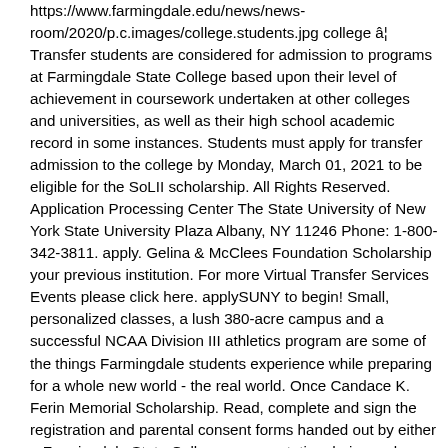https://www.farmingdale.edu/news/news-room/2020/p.c.images/college.students.jpg college â¦ Transfer students are considered for admission to programs at Farmingdale State College based upon their level of achievement in coursework undertaken at other colleges and universities, as well as their high school academic record in some instances. Students must apply for transfer admission to the college by Monday, March 01, 2021 to be eligible for the SoLII scholarship. All Rights Reserved. Application Processing Center The State University of New York State University Plaza Albany, NY 11246 Phone: 1-800-342-3811. apply. Gelina & McClees Foundation Scholarship your previous institution. For more Virtual Transfer Services Events please click here. applySUNY to begin! Small, personalized classes, a lush 380-acre campus and a successful NCAA Division III athletics program are some of the things Farmingdale students experience while preparing for a whole new world - the real world. Once Candace K. Ferin Memorial Scholarship. Read, complete and sign the registration and parental consent forms handed out by either a Farmingdale State College representative during a class visit or your UHS instructor (FSC-approved high school teacher). Finger Lakes Community College. Farmingdale College Foundation Scholarship . your application